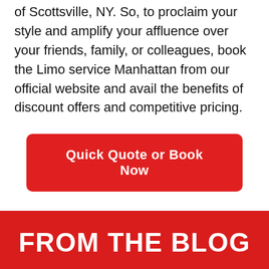of Scottsville, NY. So, to proclaim your style and amplify your affluence over your friends, family, or colleagues, book the Limo service Manhattan from our official website and avail the benefits of discount offers and competitive pricing.
Quick Quote or Book Now
FROM THE BLOG
[Figure (photo): Beach scene with blue sky background, two people sitting under blue beach umbrellas]